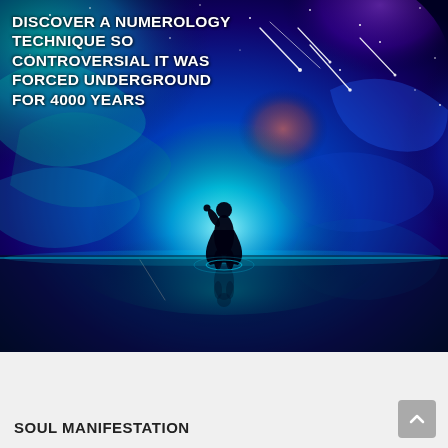[Figure (illustration): Fantasy cosmic illustration showing a lone silhouetted figure standing on a reflective surface beneath a swirling, colorful night sky filled with nebulae in teal, blue, purple, and red hues, shooting stars, and clouds of cosmic light radiating outward from the figure.]
DISCOVER A NUMEROLOGY TECHNIQUE SO CONTROVERSIAL IT WAS FORCED UNDERGROUND FOR 4000 YEARS
SOUL MANIFESTATION